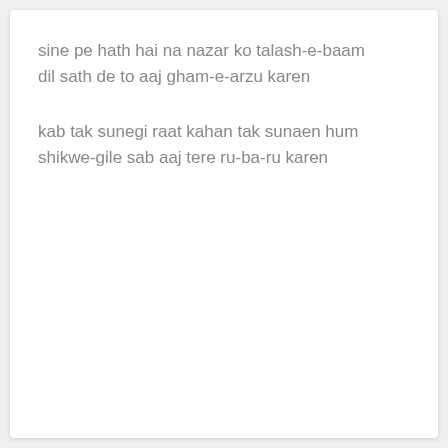sine pe hath hai na nazar ko talash-e-baam
dil sath de to aaj gham-e-arzu karen
kab tak sunegi raat kahan tak sunaen hum
shikwe-gile sab aaj tere ru-ba-ru karen